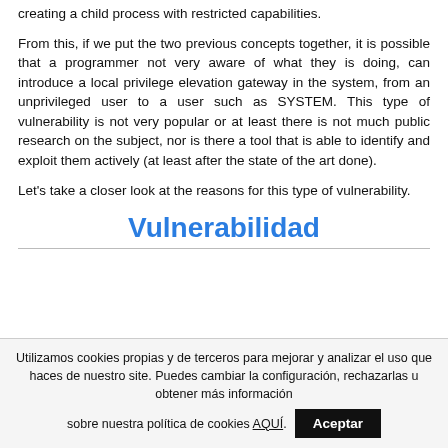creating a child process with restricted capabilities.
From this, if we put the two previous concepts together, it is possible that a programmer not very aware of what they is doing, can introduce a local privilege elevation gateway in the system, from an unprivileged user to a user such as SYSTEM. This type of vulnerability is not very popular or at least there is not much public research on the subject, nor is there a tool that is able to identify and exploit them actively (at least after the state of the art done).
Let's take a closer look at the reasons for this type of vulnerability.
Vulnerabilidad
Utilizamos cookies propias y de terceros para mejorar y analizar el uso que haces de nuestro site. Puedes cambiar la configuración, rechazarlas u obtener más información sobre nuestra política de cookies AQUÍ.